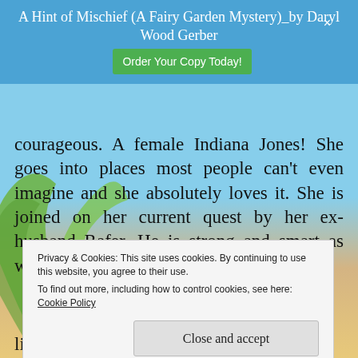A Hint of Mischief (A Fairy Garden Mystery)_by Daryl Wood Gerber | Order Your Copy Today! ×
courageous. A female Indiana Jones! She goes into places most people can't even imagine and she absolutely loves it. She is joined on her current quest by her ex-husband Rafer. He is strong and smart as well but a bit of a slob. He is “disturbingly
Privacy & Cookies: This site uses cookies. By continuing to use this website, you agree to their use.
To find out more, including how to control cookies, see here:
Cookie Policy
Close and accept
like these characters and am anxious to see